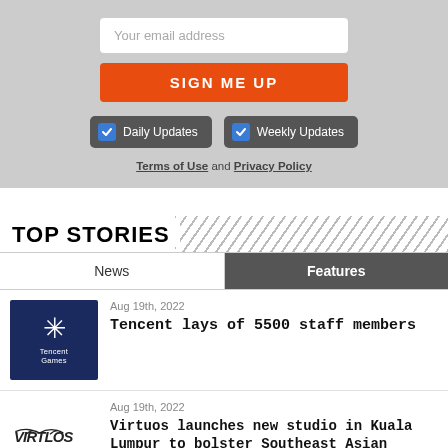[Figure (screenshot): Email signup form with 'Your email address' input, orange 'SIGN ME UP' button, checkboxes for Daily Updates and Weekly Updates, and links to Terms of Use and Privacy Policy on a gray background]
TOP STORIES
News | Features (tab bar)
Aug 19th, 2022
Tencent lays of 5500 staff members
Aug 19th, 2022
Virtuos launches new studio in Kuala Lumpur to bolster Southeast Asian presence
Aug 19th, 2022
NetEase sees a 12.8% year-on-year increase in net